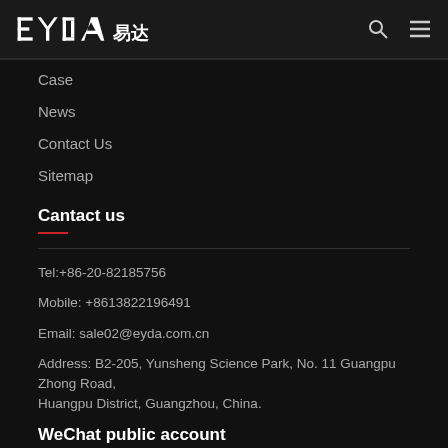EYDA 易达
Case
News
Contact Us
Sitemap
Cantact us
Tel:+86-20-82185756
Mobile: +8613822196491
Email: sale02@eyda.com.cn
Address: B2-205, Yunsheng Science Park, No. 11 Guangpu Zhong Road, Huangpu District, Guangzhou, China.
WeChat public account